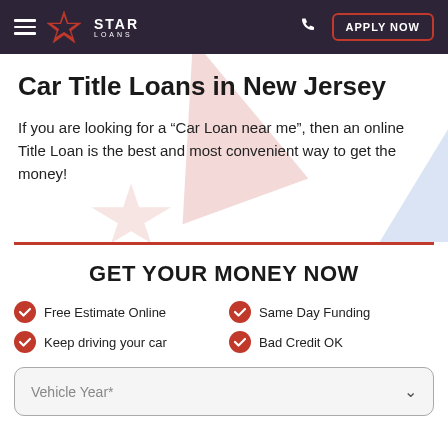Star Loans — APPLY NOW
Car Title Loans in New Jersey
If you are looking for a “Car Loan near me”, then an online Title Loan is the best and most convenient way to get the money!
GET YOUR MONEY NOW
Free Estimate Online
Same Day Funding
Keep driving your car
Bad Credit OK
Vehicle Year*